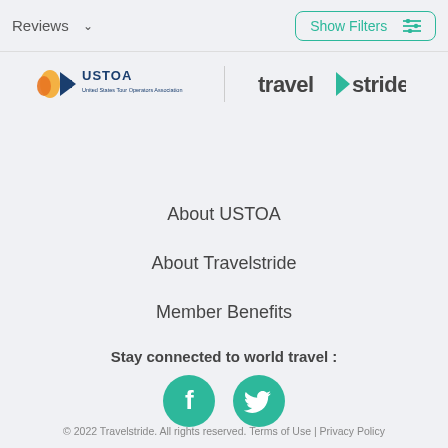Reviews  Show Filters
[Figure (logo): USTOA (United States Tour Operators Association) logo and Travelstride logo side by side]
About USTOA
About Travelstride
Member Benefits
Stay connected to world travel :
[Figure (illustration): Facebook and Twitter social media icon buttons in green circles]
© 2022 Travelstride. All rights reserved. Terms of Use | Privacy Policy